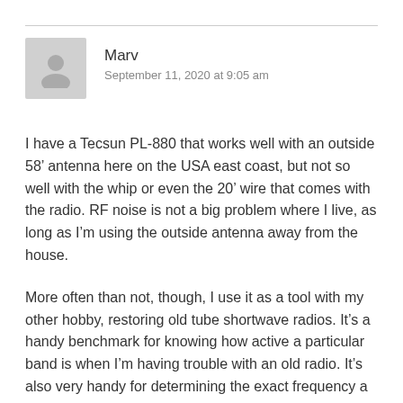Marv
September 11, 2020 at 9:05 am
I have a Tecsun PL-880 that works well with an outside 58’ antenna here on the USA east coast, but not so well with the whip or even the 20’ wire that comes with the radio. RF noise is not a big problem where I live, as long as I’m using the outside antenna away from the house.
More often than not, though, I use it as a tool with my other hobby, restoring old tube shortwave radios. It’s a handy benchmark for knowing how active a particular band is when I’m having trouble with an old radio. It’s also very handy for determining the exact frequency a station is transmitting on.
I might add that FM reception in my area is poor, but if I clip